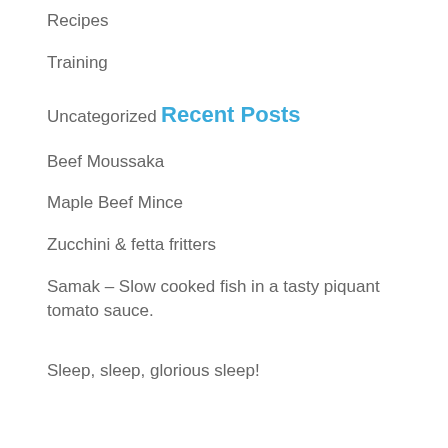Recipes
Training
Uncategorized
Recent Posts
Beef Moussaka
Maple Beef Mince
Zucchini & fetta fritters
Samak – Slow cooked fish in a tasty piquant tomato sauce.
Sleep, sleep, glorious sleep!